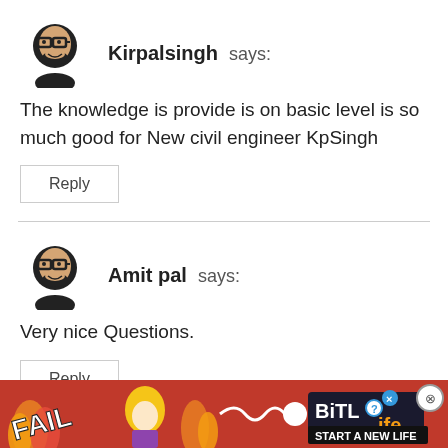[Figure (illustration): Avatar icon of a person with glasses and beard]
Kirpalsingh says:
The knowledge is provide is on basic level is so much good for New civil engineer KpSingh
Reply
[Figure (illustration): Avatar icon of a person with glasses and beard]
Amit pal says:
Very nice Questions.
Reply
[Figure (screenshot): Advertisement banner: FAIL image with BitLife logo and START A NEW LIFE text on red background]